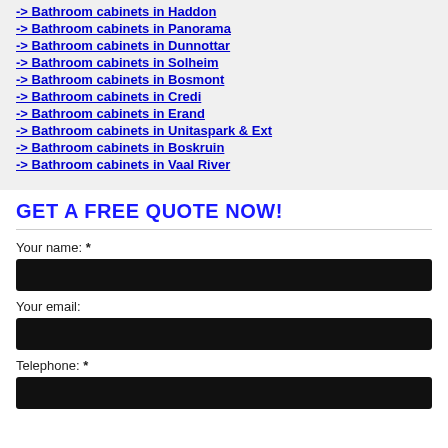-> Bathroom cabinets in Haddon
-> Bathroom cabinets in Panorama
-> Bathroom cabinets in Dunnottar
-> Bathroom cabinets in Solheim
-> Bathroom cabinets in Bosmont
-> Bathroom cabinets in Credi
-> Bathroom cabinets in Erand
-> Bathroom cabinets in Unitaspark & Ext
-> Bathroom cabinets in Boskruin
-> Bathroom cabinets in Vaal River
GET A FREE QUOTE NOW!
Your name: *
Your email:
Telephone: *